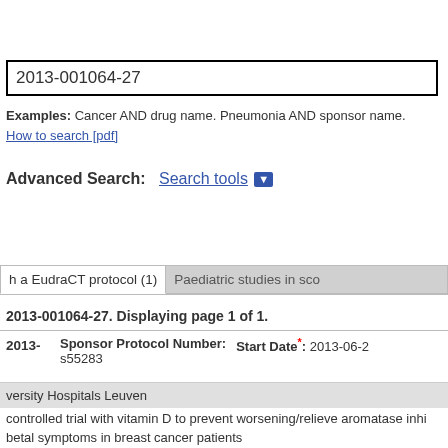2013-001064-27
Examples: Cancer AND drug name. Pneumonia AND sponsor name.
How to search [pdf]
Advanced Search:  Search tools
h a EudraCT protocol (1)
Paediatric studies in sco
2013-001064-27. Displaying page 1 of 1.
| EudraCT | Sponsor Protocol Number | Start Date |
| --- | --- | --- |
| 2013- | s55283 | 2013-06-2 |
versity Hospitals Leuven
controlled trial with vitamin D to prevent worsening/relieve aromatase inhi betal symptoms in breast cancer patients